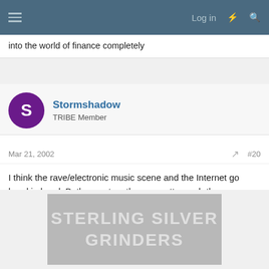Log in
into the world of finance completely
Stormshadow
TRIBE Member
Mar 21, 2002  #20
I think the rave/electronic music scene and the Internet go hand in hand. Both grew together on pretty much the same timeline, and people who listen to electronic music are usually technically inclined. Especially since people have been finding out about parties through e-mail and message boards for a long time now.
[Figure (other): Advertisement placeholder: STERLING SILVER GRINDERS text on grey background]